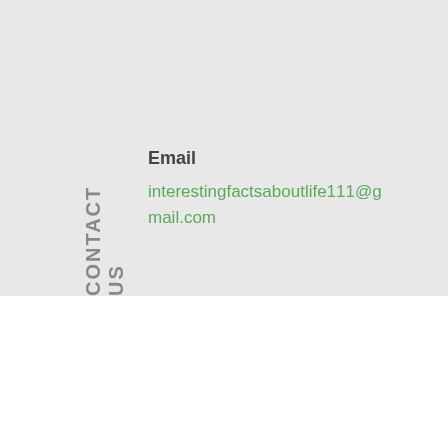CONTACT US
Email
interestingfactsaboutlife111@gmail.com
HOME   ABOUT US   BLOG   CONTACT US
Copyright © 2022 Interesting Facts About Life — Escapade WordPress theme by GoDaddy